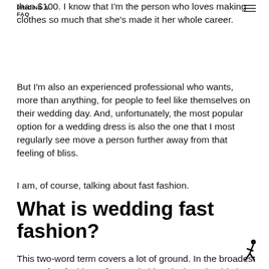PRICING &
FAQ
than $100. I know that I'm the person who loves making clothes so much that she's made it her whole career.
But I'm also an experienced professional who wants, more than anything, for people to feel like themselves on their wedding day. And, unfortunately, the most popular option for a wedding dress is also the one that I most regularly see move a person further away from that feeling of bliss.
I am, of course, talking about fast fashion.
What is wedding fast fashion?
This two-word term covers a lot of ground. In the broadest sense, fast fashion refers to clothing designs that hit the market quickly to